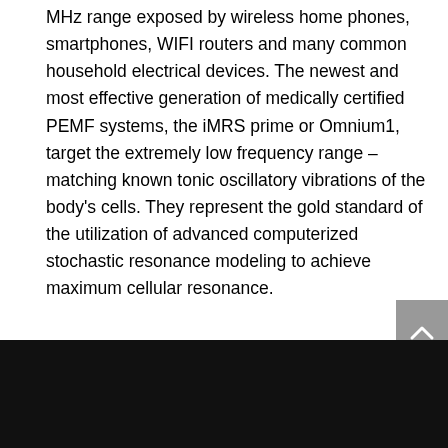MHz range exposed by wireless home phones, smartphones, WIFI routers and many common household electrical devices. The newest and most effective generation of medically certified PEMF systems, the iMRS prime or Omnium1, target the extremely low frequency range – matching known tonic oscillatory vibrations of the body's cells. They represent the gold standard of the utilization of advanced computerized stochastic resonance modeling to achieve maximum cellular resonance.